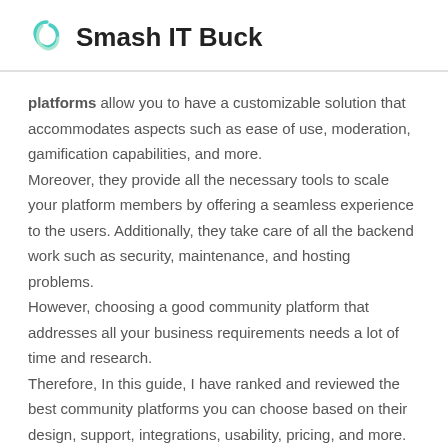Smash IT Buck
platforms allow you to have a customizable solution that accommodates aspects such as ease of use, moderation, gamification capabilities, and more.
Moreover, they provide all the necessary tools to scale your platform members by offering a seamless experience to the users. Additionally, they take care of all the backend work such as security, maintenance, and hosting problems.
However, choosing a good community platform that addresses all your business requirements needs a lot of time and research.
Therefore, In this guide, I have ranked and reviewed the best community platforms you can choose based on their design, support, integrations, usability, pricing, and more.